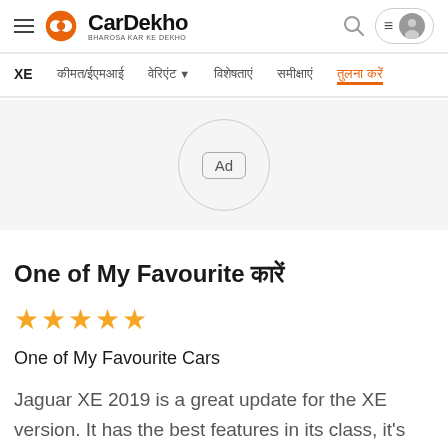CarDekho — BHAROSA KAR KE DEKHO
[Figure (logo): CarDekho logo with orange circular icon and text 'CarDekho BHAROSA KAR KE DEKHO']
XE
कीमत/ईएमआई
वेरिएंट dropdown
विशेषताए
समीक्षाएं
तुलना करें (active)
[Figure (other): Ad placeholder - grey background with circle containing 'Ad' label in a rounded rectangle]
One of My Favourite कारें
[Figure (other): 5 orange star rating]
One of My Favourite Cars
Jaguar XE 2019 is a great update for the XE version. It has the best features in its class, it's